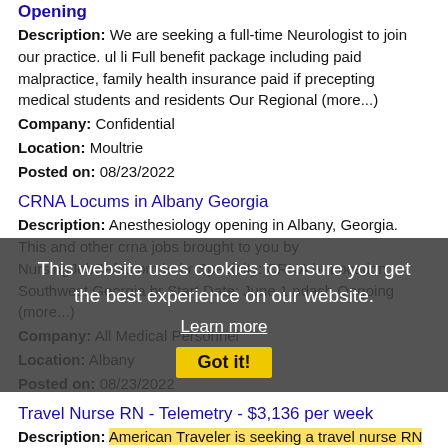Opening
Description: We are seeking a full-time Neurologist to join our practice. ul li Full benefit package including paid malpractice, family health insurance paid if precepting medical students and residents Our Regional (more...)
Company: Confidential
Location: Moultrie
Posted on: 08/23/2022
CRNA Locums in Albany Georgia
Description: Anesthesiology opening in Albany, Georgia. This and other crna jobs brought to you by NursingJobCafe.com br br Specialty: CRNA br Location: Southwest Georgia br Start Date: June 1 ndash Ongoing (more...)
Company: All Medical Personnel
Location: Albany
Posted on: 08/23/2022
Travel Nurse RN - Telemetry - $3,136 per week
Description: American Traveler is seeking a travel nurse RN Telemetry for a travel nursing job in Albany, Georgia.Job Description Requirements ul li Specialty: Telemetry li Discipline: RN li Start Date: (more...)
Company: American Traveler
This website uses cookies to ensure you get the best experience on our website. Learn more Got it!